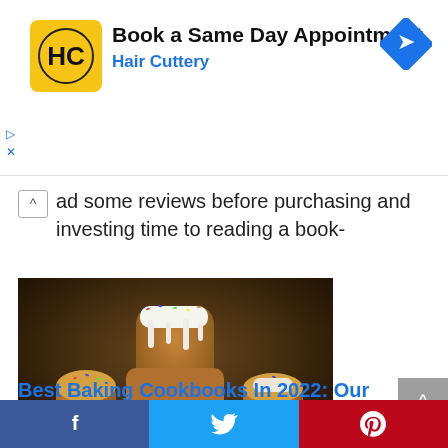[Figure (advertisement): Hair Cuttery ad banner: yellow square logo with HC initials, text 'Book a Same Day Appointment' and 'Hair Cuttery' in blue, blue diamond navigation icon on right, ad controls (triangle play and X) on left]
ad some reviews before purchasing and investing time to reading a book-
[Figure (photo): Photo of Easter baked goods on a dark plate: a tall glazed kulich bread with white icing drizzle and colorful sprinkles in the center, flanked by cupcakes/muffins with sprinkles, and dark red Easter eggs, on a dark background]
Best Baking Cookbooks In 2022: Our Top 11 Reviews
f  [Twitter bird]  [Pinterest P]